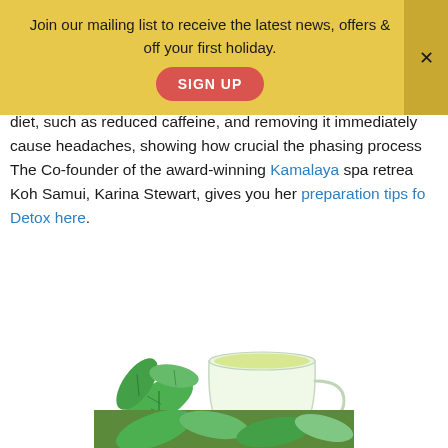Join our mailing list to receive the latest news, offers & off your first holiday.
SIGN UP
such as Green Tea. Your body needs to adjust to the changes in diet, such as reduced caffeine, and removing it immediately can cause headaches, showing how crucial the phasing process is. The Co-founder of the award-winning Kamalaya spa retreat in Koh Samui, Karina Stewart, gives you her preparation tips for Detox here.
[Figure (photo): A glass cup of green/herbal tea on a saucer, with fresh mint leaves beside it, on a white background.]
[Figure (photo): Partial view of another herb/plant image at the bottom of the page.]